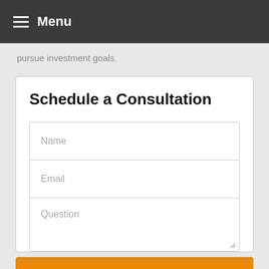Menu
pursue investment goals.
Schedule a Consultation
Name
Email
Question